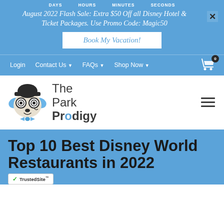DAYS  HOURS  MINUTES  SECONDS
August 2022 Flash Sale: Extra $50 Off all Disney Hotel & Ticket Packages. Use Promo Code: Magic50
Book My Vacation!
Login  Contact Us  FAQs  Shop Now
[Figure (logo): The Park Prodigy logo with cartoon dog wearing a bowler hat and bow tie]
Top 10 Best Disney World Restaurants in 2022